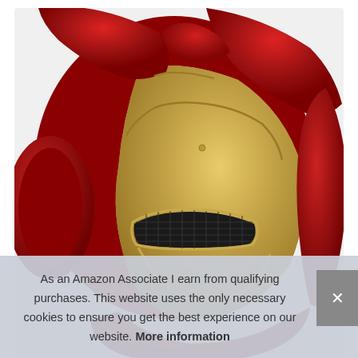[Figure (photo): Iron Man helmet/mask, primarily red and gold colored, showing the top and front of the helmet with the iconic face plate featuring gold faceplate, dark eye slots with grid detail, and dark red dome sections. The helmet is shown from a front-left angle against a light background.]
As an Amazon Associate I earn from qualifying purchases. This website uses the only necessary cookies to ensure you get the best experience on our website. More information